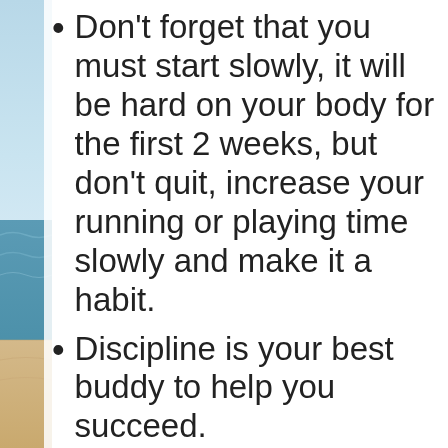Don't forget that you must start slowly, it will be hard on your body for the first 2 weeks, but don't quit, increase your running or playing time slowly and make it a habit.
Discipline is your best buddy to help you succeed.
Cardiovascular Health: Playing soccer involves constant shifts between walking, running and sprinting, which helps the